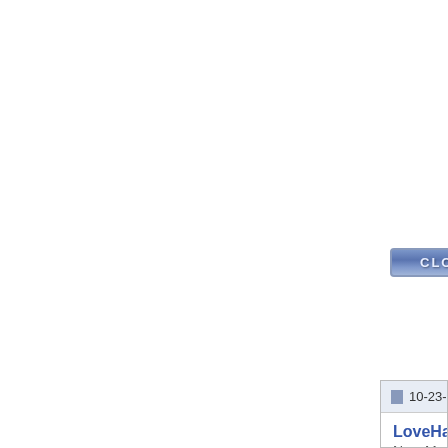[Figure (other): A blue button with text CLOSED, styled like a forum closed thread button]
10-23-2011, 03:42 PM
LoveHateBBLoveHate
New Member

Join Date: Oct 2011
Model: 9700
PIN: N/A
Carrier: T-Mobile
Posts: 1
Gmail &...

~HELP n... PLEASE

Gmail Contacts Issues - B... 9700 - Running... - :::

1. I had a...